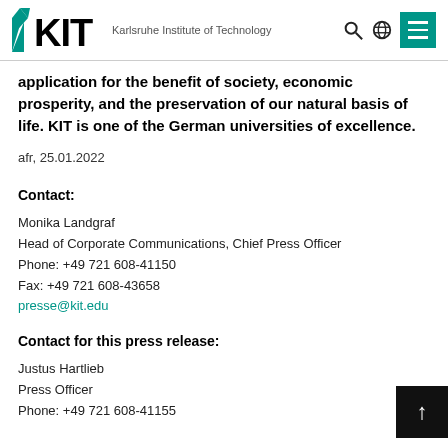KIT – Karlsruhe Institute of Technology
application for the benefit of society, economic prosperity, and the preservation of our natural basis of life. KIT is one of the German universities of excellence.
afr, 25.01.2022
Contact:
Monika Landgraf
Head of Corporate Communications, Chief Press Officer
Phone: +49 721 608-41150
Fax: +49 721 608-43658
presse@kit.edu
Contact for this press release:
Justus Hartlieb
Press Officer
Phone: +49 721 608-41155